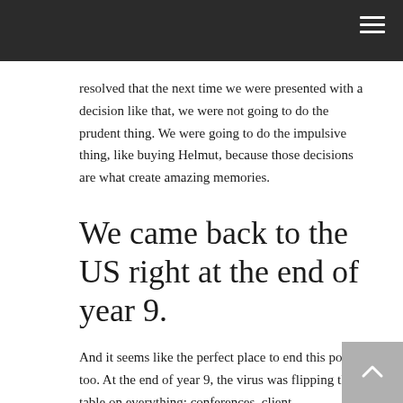resolved that the next time we were presented with a decision like that, we were not going to do the prudent thing. We were going to do the impulsive thing, like buying Helmut, because those decisions are what create amazing memories.
We came back to the US right at the end of year 9.
And it seems like the perfect place to end this post, too. At the end of year 9, the virus was flipping the table on everything: conferences, client engagements, vacations, you name it. It was a really bad time for the world economy and everyone's psychology.
We were just in a great place because the business was safe, our loved ones were safe, and strangely, the bad things in the world were good things for my business – specifically, selling